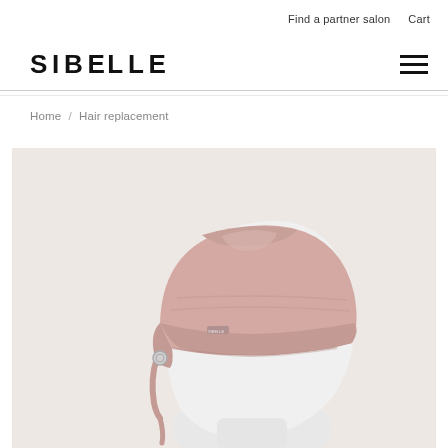Find a partner salon   Cart
SIBELLE
Home / Hair replacement
[Figure (photo): A pink fabric head cap/hat displayed on a white mannequin head, with a small logo tag and a fabric tie at the side, photographed on a light beige background.]